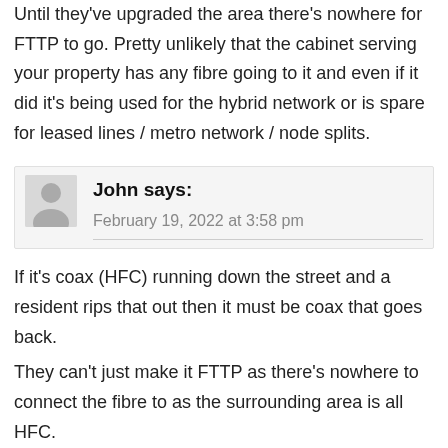Until they've upgraded the area there's nowhere for FTTP to go. Pretty unlikely that the cabinet serving your property has any fibre going to it and even if it did it's being used for the hybrid network or is spare for leased lines / metro network / node splits.
John says: February 19, 2022 at 3:58 pm
If it's coax (HFC) running down the street and a resident rips that out then it must be coax that goes back.
They can't just make it FTTP as there's nowhere to connect the fibre to as the surrounding area is all HFC.
Anyone with HFC currently can't have it changed